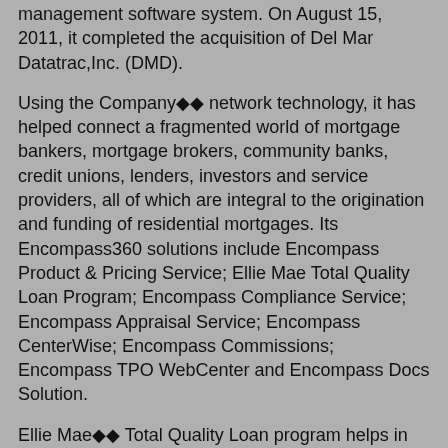management software system. On August 15, 2011, it completed the acquisition of Del Mar Datatrac,Inc. (DMD).
Using the Company◆◆ network technology, it has helped connect a fragmented world of mortgage bankers, mortgage brokers, community banks, credit unions, lenders, investors and service providers, all of which are integral to the origination and funding of residential mortgages. Its Encompass360 solutions include Encompass Product & Pricing Service; Ellie Mae Total Quality Loan Program; Encompass Compliance Service; Encompass Appraisal Service; Encompass CenterWise; Encompass Commissions; Encompass TPO WebCenter and Encompass Docs Solution.
Ellie Mae◆◆ Total Quality Loan program helps in identifying compliance, income and fraud issues early in the origination process; help protect business from loan buy-backs, and fortify workflow and uncover and correct possible issues before you close the loan.Encompass Appraisal Service, integrated inside Encompass360, is that solution helps in completing order right from the loan file in Encompass360; import complete appraisal reports directly into eFolder, and customize appraisal workflow by type of loan and control